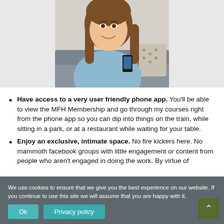[Figure (photo): Woman in light blue sweater sitting on a grey sofa, smiling and looking at her smartphone.]
Have access to a very user friendly phone app. You'll be able to view the MFH Membership and go through my courses right from the phone app so you can dip into things on the train, while sitting in a park, or at a restaurant while waiting for your table.
Enjoy an exclusive, intimate space. No fire kickers here. No mammoth facebook groups with little engagement or content from people who aren't engaged in doing the work. By virtue of
We use cookies to ensure that we give you the best experience on our website. If you continue to use this site we will assume that you are happy with it.